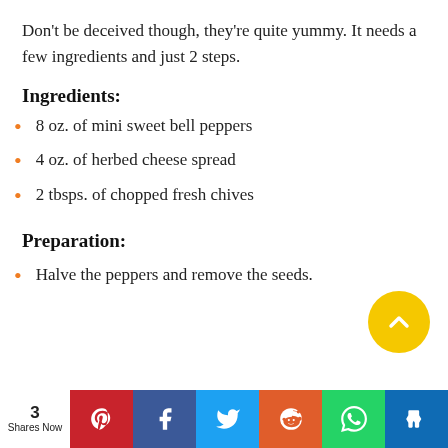Don't be deceived though, they're quite yummy. It needs a few ingredients and just 2 steps.
Ingredients:
8 oz. of mini sweet bell peppers
4 oz. of herbed cheese spread
2 tbsps. of chopped fresh chives
Preparation:
Halve the peppers and remove the seeds.